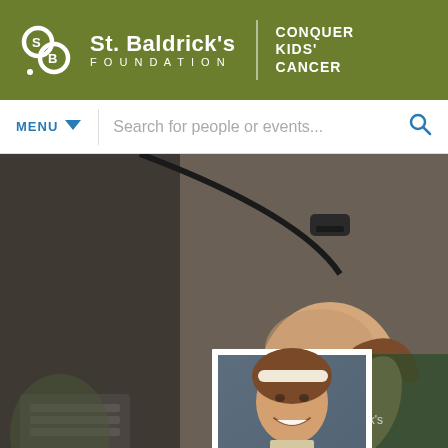[Figure (logo): St. Baldrick's Foundation logo with 'Conquer Kids' Cancer' tagline on olive green header bar]
MENU ▼   Search for people or events...   🔍
[Figure (photo): Background photo of a person getting their head shaved at a St. Baldrick's Foundation event, smiling young woman in the foreground. A smaller inset profile photo of a young woman with a white headband, school portrait style.]